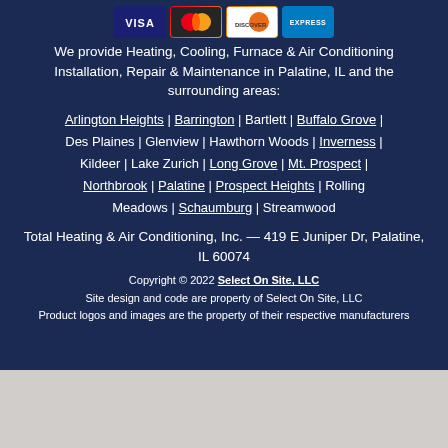[Figure (other): Payment card icons: Visa, Mastercard, Discover, American Express]
We provide Heating, Cooling, Furnace & Air Conditioning Installation, Repair & Maintenance in Palatine, IL and the surrounding areas:
Arlington Heights | Barrington | Bartlett | Buffalo Grove | Des Plaines | Glenview | Hawthorn Woods | Inverness | Kildeer | Lake Zurich | Long Grove | Mt. Prospect | Northbrook | Palatine | Prospect Heights | Rolling Meadows | Schaumburg | Streamwood
Total Heating & Air Conditioning, Inc. — 419 E Juniper Dr, Palatine, IL 60074
Copyright © 2022 Select On Site, LLC
Site design and code are property of Select On Site, LLC
Product logos and images are the property of their respective manufacturers